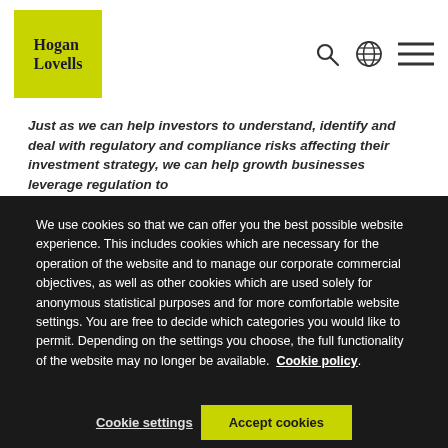[Figure (logo): Hogan Lovells logo — green square with bold serif text 'Hogan Lovells']
Just as we can help investors to understand, identify and deal with regulatory and compliance risks affecting their investment strategy, we can help growth businesses leverage regulation to
We use cookies so that we can offer you the best possible website experience. This includes cookies which are necessary for the operation of the website and to manage our corporate commercial objectives, as well as other cookies which are used solely for anonymous statistical purposes and for more comfortable website settings. You are free to decide which categories you would like to permit. Depending on the settings you choose, the full functionality of the website may no longer be available. Cookie policy
Cookie settings
Accept cookies